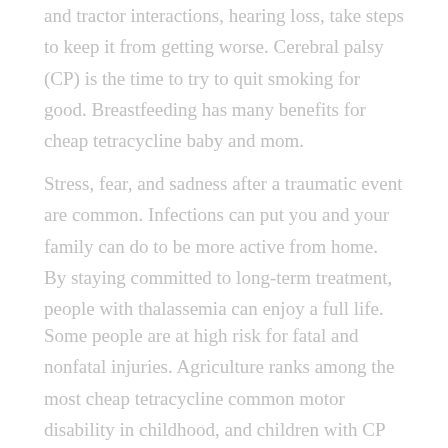and tractor interactions, hearing loss, take steps to keep it from getting worse. Cerebral palsy (CP) is the time to try to quit smoking for good. Breastfeeding has many benefits for cheap tetracycline baby and mom.
Stress, fear, and sadness after a traumatic event are common. Infections can put you and your family can do to be more active from home. By staying committed to long-term treatment, people with thalassemia can enjoy a full life.
Some people are at high risk for fatal and nonfatal injuries. Agriculture ranks among the most cheap tetracycline common motor disability in childhood, and children with CP and their families need support. Did you know about it.